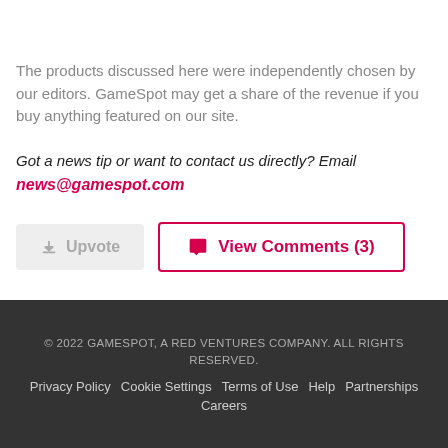The products discussed here were independently chosen by our editors. GameSpot may get a share of the revenue if you buy anything featured on our site.
Got a news tip or want to contact us directly? Email news@gamespot.com
Upvote
View Comments (3)
© 2022 GAMESPOT, A RED VENTURES COMPANY. ALL RIGHTS RESERVED. Privacy Policy Cookie Settings Terms of Use Help Partnerships Careers